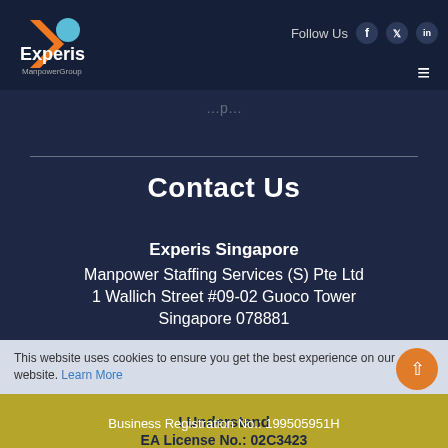[Figure (logo): Experis ManpowerGroup logo — orange arrow/chevron with teal/green dot, text 'Experis' in white and 'ManpowerGroup' in smaller text below]
Follow Us  f  twitter  in  ≡
...p...
Contact Us
Experis Singapore
Manpower Staffing Services (S) Pte Ltd
1 Wallich Street #09-02 Guoco Tower
Singapore 078881
T: +65 6232 8811
E: enquiry@experis.com.sg
Business Registration No.: 199505951H
EA License No.: 02C3423
This website uses cookies to ensure you get the best experience on our website. Learn More
I Understand